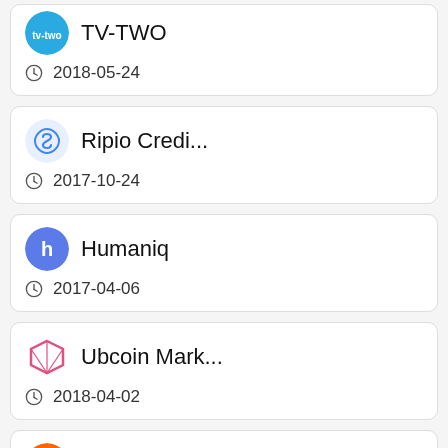TV-TWO — 2018-05-24
Ripio Credi... — 2017-10-24
Humaniq — 2017-04-06
Ubcoin Mark... — 2018-04-02
Jet8 — 2018-02-28
Unibright